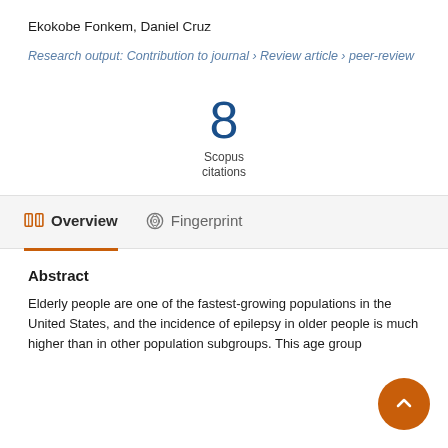Ekokobe Fonkem, Daniel Cruz
Research output: Contribution to journal › Review article › peer-review
8
Scopus
citations
Overview   Fingerprint
Abstract
Elderly people are one of the fastest-growing populations in the United States, and the incidence of epilepsy in older people is much higher than in other population subgroups. This age group